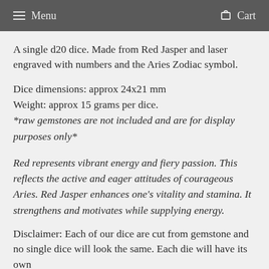Menu   Cart
A single d20 dice. Made from Red Jasper and laser engraved with numbers and the Aries Zodiac symbol.
Dice dimensions: approx 24x21 mm
Weight: approx 15 grams per dice.
*raw gemstones are not included and are for display purposes only*
Red represents vibrant energy and fiery passion. This reflects the active and eager attitudes of courageous Aries. Red Jasper enhances one's vitality and stamina. It strengthens and motivates while supplying energy.
Disclaimer: Each of our dice are cut from gemstone and no single dice will look the same. Each die will have its own